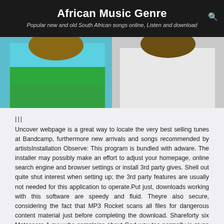African Music Genre
Popular new and old South African songs online, Listen and download
[Figure (photo): Two people standing, one wearing a blue and green top, another in a white hoodie]
|||
Uncover webpage is a great way to locate the very best selling tunes at Bandcamp, furthermore new arrivals and songs recommended by artistsInstallation Observe: This program is bundled with adware. The installer may possibly make an effort to adjust your homepage, online search engine and browser settings or install 3rd party gives. Shell out quite shut interest when setting up; the 3rd party features are usually not needed for this application to operate.Put just, downloads working with this software are speedy and fluid. Theyre also secure, considering the fact that MP3 Rocket scans all files for dangerous content material just before completing the download. Shareforty six Metascore A guy who complains about God way too normally is given almighty powers to teach him how difficult it can be to run the world.By using our converter you can certainly convert YouTube films to mp3 (audio) or mp4 (movie)